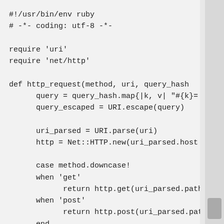#!/usr/bin/env ruby
# -*- coding: utf-8 -*-

require 'uri'
require 'net/http'

def http_request(method, uri, query_hash
      query = query_hash.map{|k, v| "#{k}=
      query_escaped = URI.escape(query)

      uri_parsed = URI.parse(uri)
      http = Net::HTTP.new(uri_parsed.host

      case method.downcase!
      when 'get'
            return http.get(uri_parsed.path
      when 'post'
            return http.post(uri_parsed.path
      end
end

#cpu